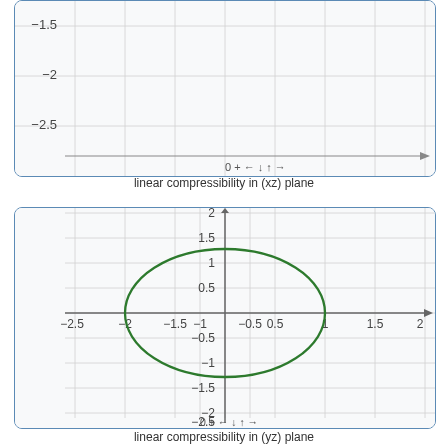[Figure (continuous-plot): Top partial chart: linear compressibility in (xz) plane showing bottom portion of a plot with y-axis labels -1.5, -2, -2.5 and axis arrows]
linear compressibility in (xz) plane
[Figure (continuous-plot): Linear compressibility in (yz) plane showing an ellipse centered at origin with semi-major axis ~2 along x and semi-minor axis ~1.3 along y. Axes range from -2.5 to 2 on x and -2.5 to 2 on y.]
linear compressibility in (yz) plane